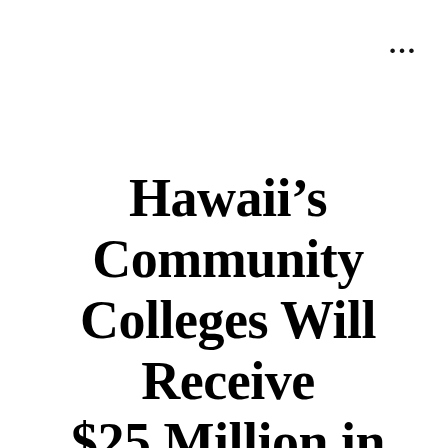...
Hawaii’s Community Colleges Will Receive $25 Million in Federal Grants